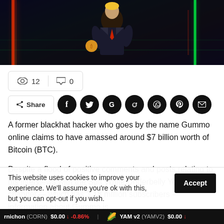[Figure (illustration): Anime-style illustration of a figure in a suit holding a Bitcoin coin, with neon green and red light bars in a dark cyberpunk background]
👁 12   💬 0
Share (social media buttons: Facebook, Twitter, Google, Reddit, WhatsApp, Pinterest, Email)
A former blackhat hacker who goes by the name Gummo online claims to have amassed around $7 billion worth of Bitcoin (BTC).
Despite a flood of positive comments and posts relating to his interviews with the Soft White Underbelly YouTube channel — which has 3.18 million subscribers — information about Gummo is
This website uses cookies to improve your experience. We'll assume you're ok with this, but you can opt-out if you wish.  Accept
rnichon (CORN) $0.00 ↓ -0.86%   YAM v2 (YAMV2) $0.00 ↓